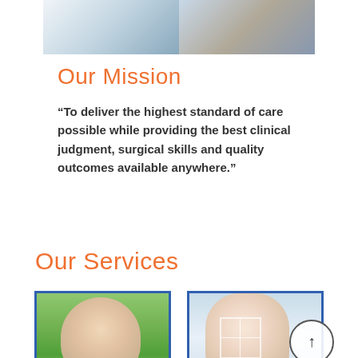[Figure (photo): Top banner photo showing medical equipment and staff in a clinical setting]
Our Mission
“To deliver the highest standard of care possible while providing the best clinical judgment, surgical skills and quality outcomes available anywhere.”
Our Services
[Figure (photo): Older man smiling outdoors in a green polo shirt]
[Figure (photo): Young woman touching her eye with a crosshair overlay, with an eye chart in the background]